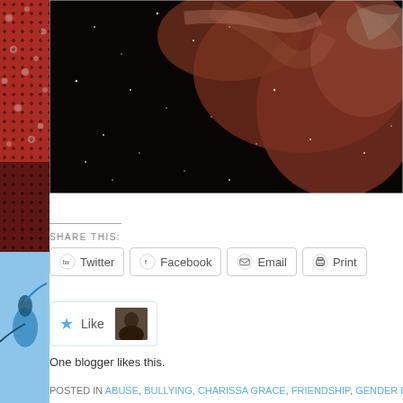[Figure (photo): Space/nebula photograph showing dark star field with reddish-brown nebula clouds and scattered white stars]
[Figure (photo): Sidebar images: top portion shows red/dark patterned image (possibly umbrella with polka dots), bottom portion shows blue bird/hummingbird illustration]
SHARE THIS:
Twitter
Facebook
Email
Print
Like
One blogger likes this.
POSTED IN ABUSE, BULLYING, CHARISSA GRACE, FRIENDSHIP, GENDER ISSUES, OW...